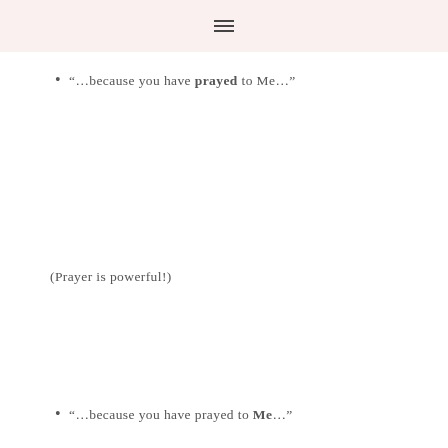≡
“…because you have prayed to Me…”
(Prayer is powerful!)
“…because you have prayed to Me…”